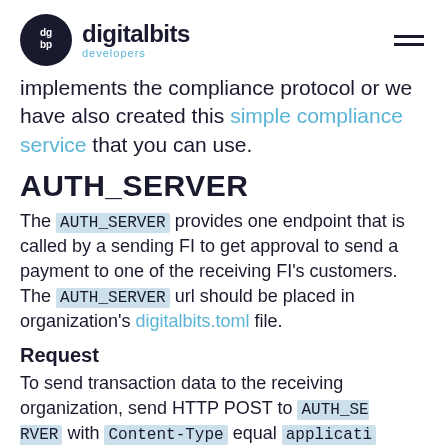digitalbits developers
implements the compliance protocol or we have also created this simple compliance service that you can use.
AUTH_SERVER
The AUTH_SERVER provides one endpoint that is called by a sending FI to get approval to send a payment to one of the receiving FI's customers. The AUTH_SERVER url should be placed in organization's digitalbits.toml file.
Request
To send transaction data to the receiving organization, send HTTP POST to AUTH_SERVER with Content-Type equal applicati